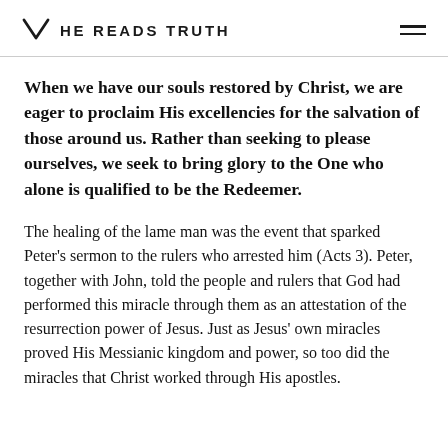HE READS TRUTH
When we have our souls restored by Christ, we are eager to proclaim His excellencies for the salvation of those around us. Rather than seeking to please ourselves, we seek to bring glory to the One who alone is qualified to be the Redeemer.
The healing of the lame man was the event that sparked Peter's sermon to the rulers who arrested him (Acts 3). Peter, together with John, told the people and rulers that God had performed this miracle through them as an attestation of the resurrection power of Jesus. Just as Jesus' own miracles proved His Messianic kingdom and power, so too did the miracles that Christ worked through His apostles.